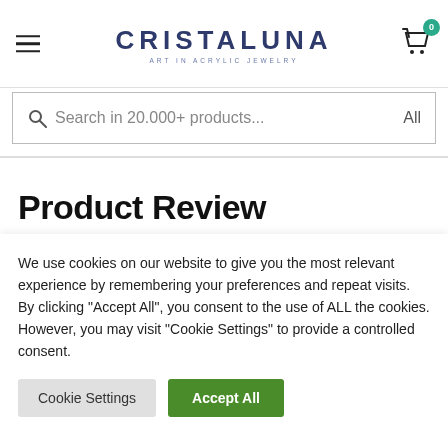CRISTALUNA — ART IN ACRYLIC JEWELRY
Search in 20.000+ products... All
Product Review
We use cookies on our website to give you the most relevant experience by remembering your preferences and repeat visits. By clicking "Accept All", you consent to the use of ALL the cookies. However, you may visit "Cookie Settings" to provide a controlled consent.